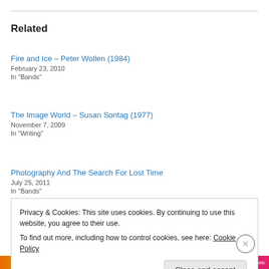Related
Fire and Ice – Peter Wollen (1984)
February 23, 2010
In "Bands"
The Image World – Susan Sontag (1977)
November 7, 2009
In "Writing"
Photography And The Search For Lost Time
July 25, 2011
In "Bands"
Privacy & Cookies: This site uses cookies. By continuing to use this website, you agree to their use.
To find out more, including how to control cookies, see here: Cookie Policy
Close and accept